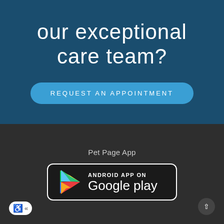Ready to meet our exceptional care team?
REQUEST AN APPOINTMENT
Pet Page App
[Figure (logo): Google Play Store badge with Play triangle icon and text 'ANDROID APP ON Google play']